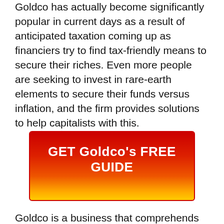Goldco has actually become significantly popular in current days as a result of anticipated taxation coming up as financiers try to find tax-friendly means to secure their riches. Even more people are seeking to invest in rare-earth elements to secure their funds versus inflation, and the firm provides solutions to help capitalists with this.
[Figure (other): Red to gold gradient call-to-action button with text: GET Goldco's FREE GUIDE]
Goldco is a business that comprehends that lots of people locate investing for retired life intimidating. Even after doing all the ideal things when spending their savings,